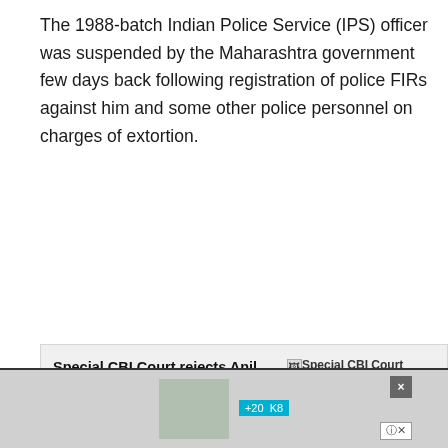The 1988-batch Indian Police Service (IPS) officer was suspended by the Maharashtra government few days back following registration of police FIRs against him and some other police personnel on charges of extortion.
[Figure (screenshot): A related-article callout box with bold headline 'Special CBI Court rejects Anil Deshmukh's bail plea in corruption case' on the left and a broken image thumbnail with the same text on the right.]
Sources said his statement was "vital" to take the investigation in the case forward. Former Maharashtra home minister Anil Deshmukh and his aides have been arrested by the Enforcement Directorate (ED) in this case.
[Figure (screenshot): Bottom advertisement area with a close button and ad content partially visible.]